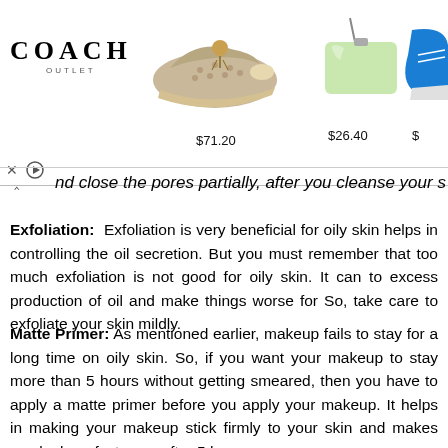[Figure (infographic): Coach Outlet advertisement banner showing a logo, a patterned espadrille shoe priced at $71.20, a light green wristlet purse priced at $26.40, and a partial blue sneaker. Ad controls (close X and play button) visible at bottom left.]
nd close the pores partially, after you cleanse your s
Exfoliation: Exfoliation is very beneficial for oily skin helps in controlling the oil secretion. But you must remember that too much exfoliation is not good for oily skin. It can to excess production of oil and make things worse for So, take care to exfoliate your skin mildly.
Matte Primer: As mentioned earlier, makeup fails to stay for a long time on oily skin. So, if you want your makeup to stay more than 5 hours without getting smeared, then you have to apply a matte primer before you apply your makeup. It helps in making your makeup stick firmly to your skin and makes you look perfect even after 5 hours or more.